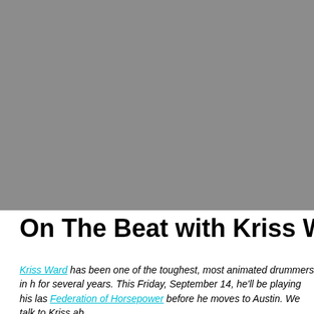[Figure (photo): Gray placeholder image filling the top portion of the page]
On The Beat with Kriss Ward
Kriss Ward has been one of the toughest, most animated drummers in h for several years. This Friday, September 14, he'll be playing his las Federation of Horsepower before he moves to Austin. We talk to Kriss ab